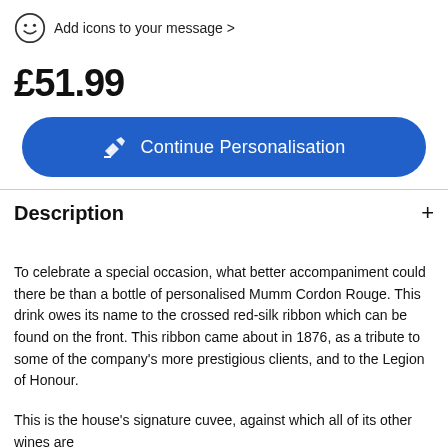Add icons to your message >
£51.99
[Figure (other): Blue rounded button with pen/personalisation icon and text 'Continue Personalisation']
Description
To celebrate a special occasion, what better accompaniment could there be than a bottle of personalised Mumm Cordon Rouge. This drink owes its name to the crossed red-silk ribbon which can be found on the front. This ribbon came about in 1876, as a tribute to some of the company's more prestigious clients, and to the Legion of Honour.
This is the house's signature cuvee, against which all of its other wines are